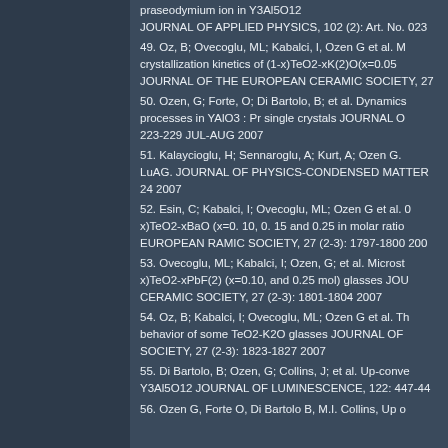praseodymium ion in Y3Al5O12 JOURNAL OF APPLIED PHYSICS, 102 (2): Art. No. 023
49. Oz, B; Ovecoglu, ML; Kabalci, I, Ozen G et al. M crystallization kinetics of (1-x)TeO2-xK(2)O(x=0.05 JOURNAL OF THE EUROPEAN CERAMIC SOCIETY, 27
50. Ozen, G; Forte, O; Di Bartolo, B; et al. Dynamics processes in YAlO3 : Pr single crystals JOURNAL O 223-229 JUL-AUG 2007
51. Kalaycioglu, H; Sennaroglu, A; Kurt, A; Ozen G. LuAG. JOURNAL OF PHYSICS-CONDENSED MATTER 24 2007
52. Esin, C; Kabalci, I; Ovecoglu, ML; Ozen G et al. 0 x)TeO2-xBaO (x=0. 10, 0. 15 and 0.25 in molar ratio EUROPEAN RAMIC SOCIETY, 27 (2-3): 1797-1800 200
53. Ovecoglu, ML; Kabalci, I; Ozen, G; et al. Microst x)TeO2-xPbF(2) (x=0.10, and 0.25 mol) glasses JOU CERAMIC SOCIETY, 27 (2-3): 1801-1804 2007
54. Oz, B; Kabalci, I; Ovecoglu, ML; Ozen G et al. Th behavior of some TeO2-K2O glasses JOURNAL OF SOCIETY, 27 (2-3): 1823-1827 2007
55. Di Bartolo, B; Ozen, G; Collins, J; et al. Up-conve Y3Al5O12 JOURNAL OF LUMINESCENCE, 122: 447-44
56. Ozen G, Forte O, Di Bartolo B, M.I. Collins, Up o